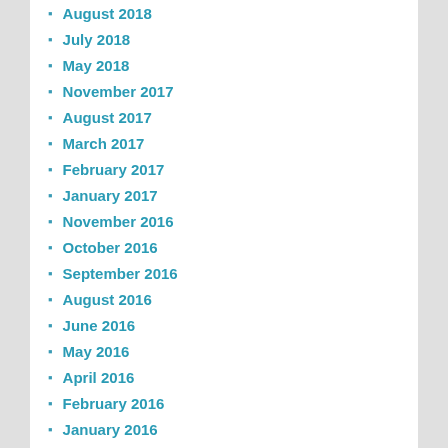August 2018
July 2018
May 2018
November 2017
August 2017
March 2017
February 2017
January 2017
November 2016
October 2016
September 2016
August 2016
June 2016
May 2016
April 2016
February 2016
January 2016
November 2015
September 2015
August 2015
July 2015
June 2015